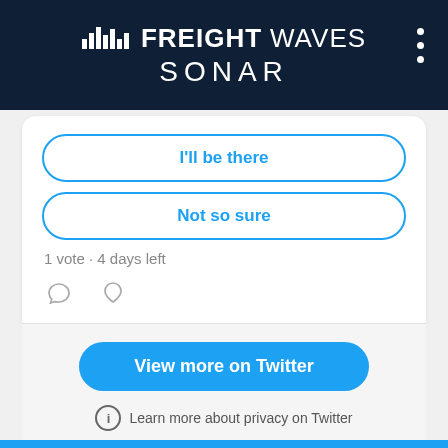[Figure (logo): FreightWaves SONAR logo on dark navy background with three-dot menu icon]
I'll be there
Not so sure
1 vote · 4 days left
View more on Twitter
Learn more about privacy on Twitter